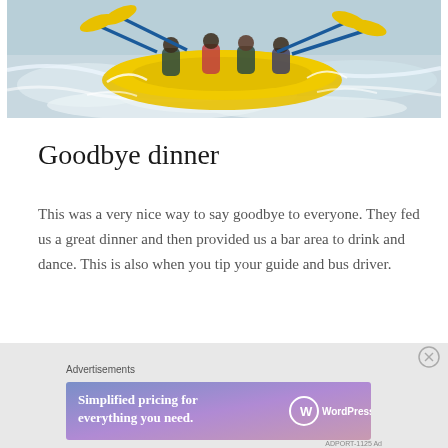[Figure (photo): White water rafting photo showing people in a yellow raft paddling through rapids with yellow and blue paddles]
Goodbye dinner
This was a very nice way to say goodbye to everyone. They fed us a great dinner and then provided us a bar area to drink and dance. This is also when you tip your guide and bus driver.
Advertisements
[Figure (screenshot): WordPress.com advertisement banner: 'Simplified pricing for everything you need.' with WordPress.com logo on gradient background]